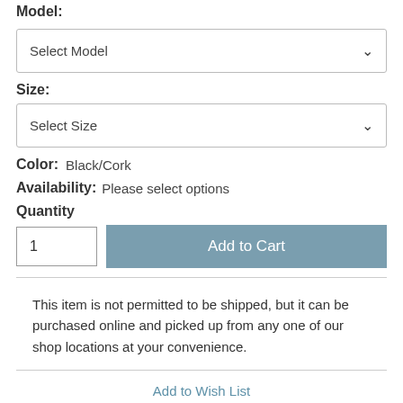Model:
Select Model
Size:
Select Size
Color:  Black/Cork
Availability:  Please select options
Quantity
1
Add to Cart
This item is not permitted to be shipped, but it can be purchased online and picked up from any one of our shop locations at your convenience.
Add to Wish List